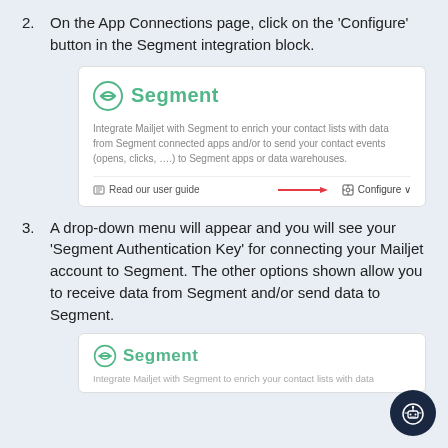2. On the App Connections page, click on the 'Configure' button in the Segment integration block.
[Figure (screenshot): Screenshot of the Segment integration block in Mailjet showing the Segment logo, description text, 'Read our user guide' link, and a red arrow pointing to a 'Configure' button with a dropdown chevron.]
3. A drop-down menu will appear and you will see your 'Segment Authentication Key' for connecting your Mailjet account to Segment. The other options shown allow you to receive data from Segment and/or send data to Segment.
[Figure (screenshot): Partial screenshot of a second Segment integration block showing the Segment logo and beginning of the description text.]